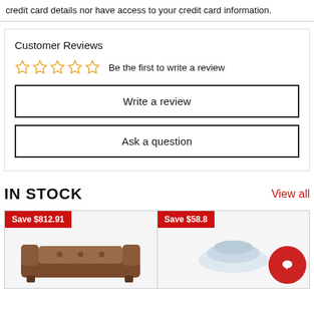credit card details nor have access to your credit card information.
Customer Reviews
☆☆☆☆☆ Be the first to write a review
Write a review
Ask a question
IN STOCK
View all
Save $812.91
Save $58.8